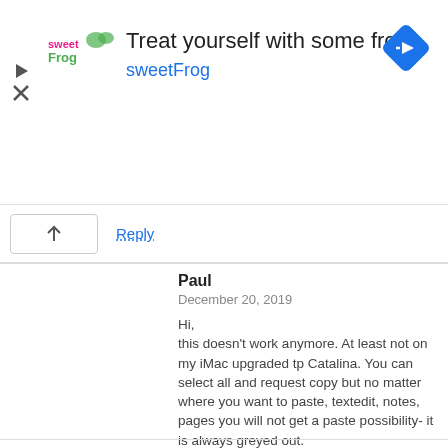[Figure (other): Advertisement banner for sweetFrog frozen yogurt with logo, headline 'Treat yourself with some froyo', brand name 'sweetFrog', and a navigation/directions diamond icon. Play and close controls on left.]
Reply
Paul
December 20, 2019

Hi,
this doesn't work anymore. At least not on my iMac upgraded tp Catalina. You can select all and request copy but no matter where you want to paste, textedit, notes, pages you will not get a paste possibility- it is always greyed out.

The only way I found was to make and save a screen shot, open the screen shot and print the image.
-Paul-
Reply